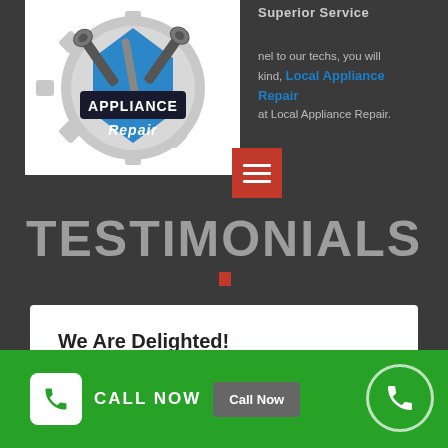[Figure (logo): Appliance Repair logo with wrenches and gear, white background]
Superior Service
nel to our techs, you will kind, Local Appliance Repair at Local Appliance Repair.
TESTIMONIALS
We Are Delighted!
★★★★★
CALL NOW   Call Now